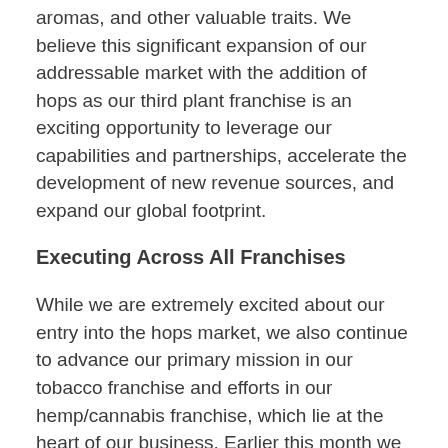aromas, and other valuable traits. We believe this significant expansion of our addressable market with the addition of hops as our third plant franchise is an exciting opportunity to leverage our capabilities and partnerships, accelerate the development of new revenue sources, and expand our global footprint.
Executing Across All Franchises
While we are extremely excited about our entry into the hops market, we also continue to advance our primary mission in our tobacco franchise and efforts in our hemp/cannabis franchise, which lie at the heart of our business. Earlier this month we announced that we are highly confident our MRTP application has completed the FDA's scientific